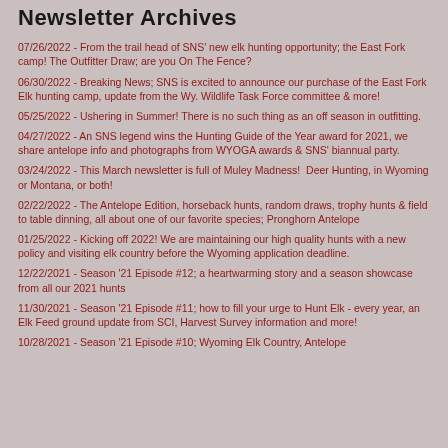Newsletter Archives
07/26/2022 - From the trail head of SNS' new elk hunting opportunity; the East Fork camp! The Outfitter Draw; are you On The Fence?
06/30/2022 - Breaking News; SNS is excited to announce our purchase of the East Fork Elk hunting camp, update from the Wy. Wildlife Task Force committee & more!
05/25/2022 - Ushering in Summer! There is no such thing as an off season in outfitting.
04/27/2022 - An SNS legend wins the Hunting Guide of the Year award for 2021, we share antelope info and photographs from WYOGA awards & SNS' biannual party.
03/24/2022 - This March newsletter is full of Muley Madness!  Deer Hunting, in Wyoming or Montana, or both!
02/22/2022 - The Antelope Edition, horseback hunts, random draws, trophy hunts & field to table dinning, all about one of our favorite species; Pronghorn Antelope
01/25/2022 - Kicking off 2022! We are maintaining our high quality hunts with a new policy and visiting elk country before the Wyoming application deadline.
12/22/2021 - Season '21 Episode #12; a heartwarming story and a season showcase from all our 2021 hunts
11/30/2021 - Season '21 Episode #11; how to fill your urge to Hunt Elk - every year, an Elk Feed ground update from SCI, Harvest Survey information and more!
10/28/2021 - Season '21 Episode #10; Wyoming Elk Country, Antelope